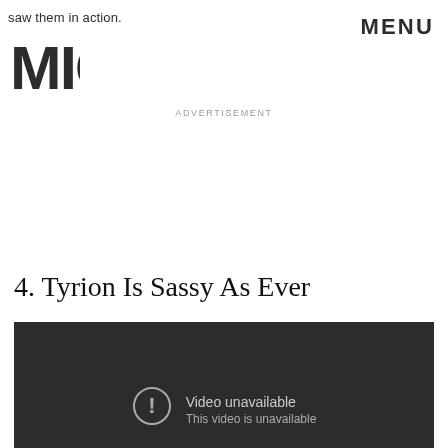saw them in action.
[Figure (logo): MIC logo — bold block letters M I C stacked]
MENU
ADVERTISEMENT
4. Tyrion Is Sassy As Ever
[Figure (screenshot): Dark video player area showing: circle with exclamation icon, 'Video unavailable', 'This video is unavailable']